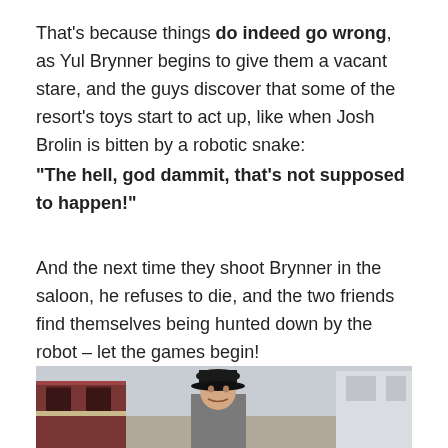That's because things do indeed go wrong, as Yul Brynner begins to give them a vacant stare, and the guys discover that some of the resort's toys start to act up, like when Josh Brolin is bitten by a robotic snake:
“The hell, god dammit, that’s not supposed to happen!”
And the next time they shoot Brynner in the saloon, he refuses to die, and the two friends find themselves being hunted down by the robot – let the games begin!
[Figure (photo): A man wearing a black cowboy hat and grey shirt standing outdoors in front of a Western-style building with red trim. The image is partially cropped at the bottom.]